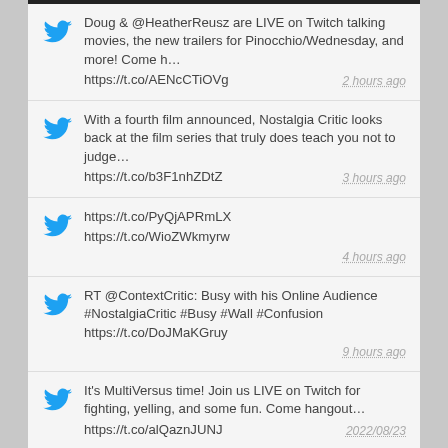Doug & @HeatherReusz are LIVE on Twitch talking movies, the new trailers for Pinocchio/Wednesday, and more! Come h… https://t.co/AENcCTiOVg  2 hours ago
With a fourth film announced, Nostalgia Critic looks back at the film series that truly does teach you not to judge… https://t.co/b3F1nhZDtZ  3 hours ago
https://t.co/PyQjAPRmLX https://t.co/WioZWkmyrw  4 hours ago
RT @ContextCritic: Busy with his Online Audience #NostalgiaCritic #Busy #Wall #Confusion https://t.co/DoJMaKGruy  9 hours ago
It's MultiVersus time! Join us LIVE on Twitch for fighting, yelling, and some fun. Come hangout… https://t.co/alQaznJUNJ  2022/08/23